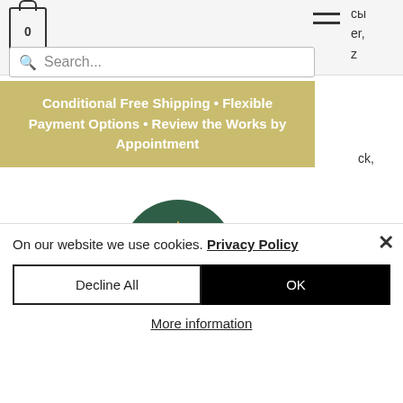[Figure (screenshot): Navigation top bar with cart icon showing 0, hamburger menu icon, and partial text cropped on right side (cy, er, z, ck,)]
[Figure (screenshot): Search input field with magnifying glass icon and placeholder text 'Search...']
Conditional Free Shipping • Flexible Payment Options • Review the Works by Appointment
[Figure (logo): Dogma Athens circular logo - dark green circle with gold triangle outline and text 'DOGMA ATHENS']
Chicago Nights - 128.1 ltc
On our website we use cookies. Privacy Policy
Decline All
OK
More information